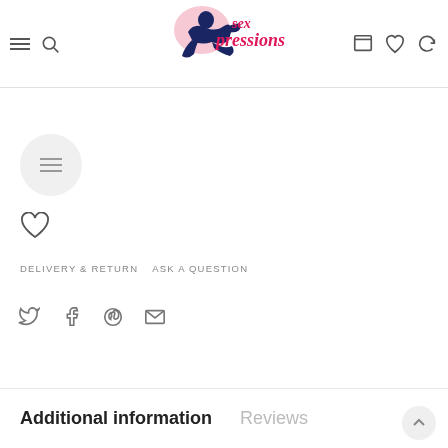[Figure (logo): Sexpressions logo with navy blue figure and pink heart on white background]
[Figure (illustration): Circular gray button with three horizontal lines (menu icon)]
[Figure (illustration): Heart/wishlist icon outline]
DELIVERY & RETURN   ASK A QUESTION
[Figure (illustration): Social share icons: Twitter, Facebook, Pinterest, Email]
Additional information
Reviews